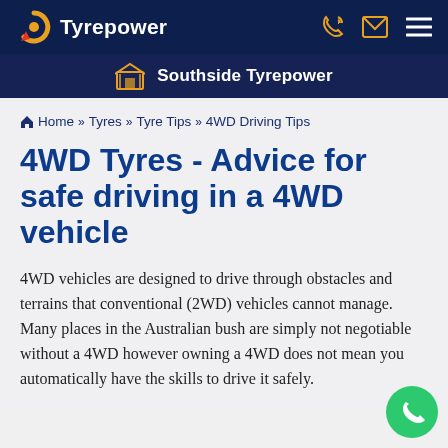Tyrepower
Southside Tyrepower
Home >> Tyres >> Tyre Tips >> 4WD Driving Tips
4WD Tyres - Advice for safe driving in a 4WD vehicle
4WD vehicles are designed to drive through obstacles and terrains that conventional (2WD) vehicles cannot manage. Many places in the Australian bush are simply not negotiable without a 4WD however owning a 4WD does not mean you automatically have the skills to drive it safely.